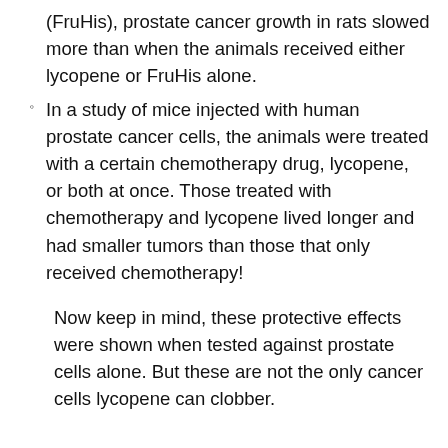(FruHis), prostate cancer growth in rats slowed more than when the animals received either lycopene or FruHis alone.
In a study of mice injected with human prostate cancer cells, the animals were treated with a certain chemotherapy drug, lycopene, or both at once. Those treated with chemotherapy and lycopene lived longer and had smaller tumors than those that only received chemotherapy!
Now keep in mind, these protective effects were shown when tested against prostate cells alone. But these are not the only cancer cells lycopene can clobber.